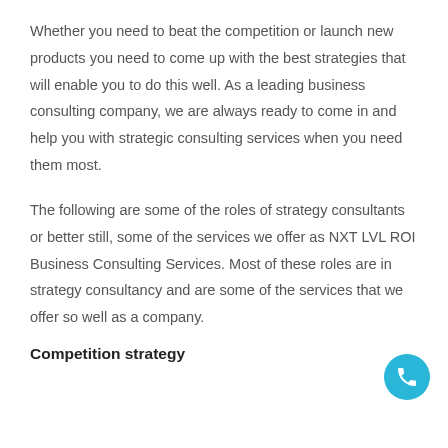Whether you need to beat the competition or launch new products you need to come up with the best strategies that will enable you to do this well. As a leading business consulting company, we are always ready to come in and help you with strategic consulting services when you need them most.
The following are some of the roles of strategy consultants or better still, some of the services we offer as NXT LVL ROI Business Consulting Services. Most of these roles are in strategy consultancy and are some of the services that we offer so well as a company.
Competition strategy